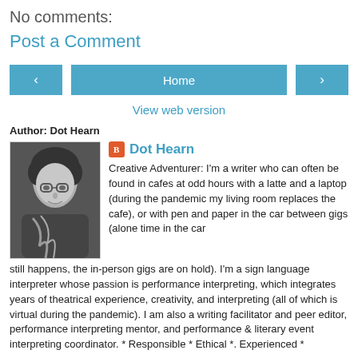No comments:
Post a Comment
‹  Home  ›  View web version
Author: Dot Hearn
[Figure (photo): Black and white portrait photo of Dot Hearn]
Dot Hearn — Creative Adventurer: I'm a writer who can often be found in cafes at odd hours with a latte and a laptop (during the pandemic my living room replaces the cafe), or with pen and paper in the car between gigs (alone time in the car still happens, the in-person gigs are on hold). I'm a sign language interpreter whose passion is performance interpreting, which integrates years of theatrical experience, creativity, and interpreting (all of which is virtual during the pandemic). I am also a writing facilitator and peer editor, performance interpreting mentor, and performance & literary event interpreting coordinator. * Responsible * Ethical *. Experienced *